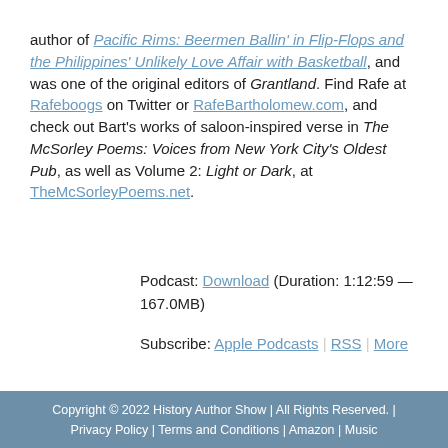author of Pacific Rims: Beermen Ballin' in Flip-Flops and the Philippines' Unlikely Love Affair with Basketball, and was one of the original editors of Grantland. Find Rafe at Rafeboogs on Twitter or RafeBartholomew.com, and check out Bart's works of saloon-inspired verse in The McSorley Poems: Voices from New York City's Oldest Pub, as well as Volume 2: Light or Dark, at TheMcSorleyPoems.net.
Podcast: Download (Duration: 1:12:59 — 167.0MB)
Subscribe: Apple Podcasts | RSS | More
Copyright © 2022 History Author Show | All Rights Reserved. | Privacy Policy | Terms and Conditions | Amazon | Music